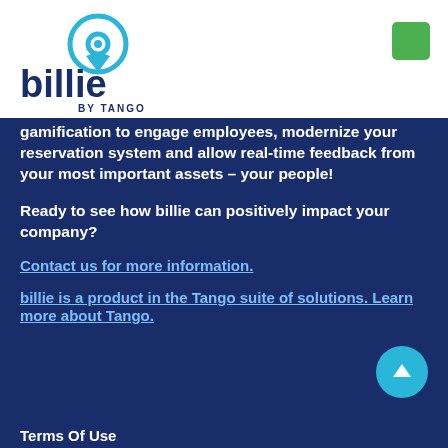[Figure (logo): Billie by Tango logo — blue pin/location icon with stylized 'b' inside, text 'billie' in dark blue with 'BY TANGO' beneath]
gamification to engage employees, modernize your reservation system and allow real-time feedback from your most important assets – your people!
Ready to see how billie can positively impact your company?
Contact us for more information.
billie is a product in the Tango suite of solutions. Learn more about Tango.
Terms Of Use